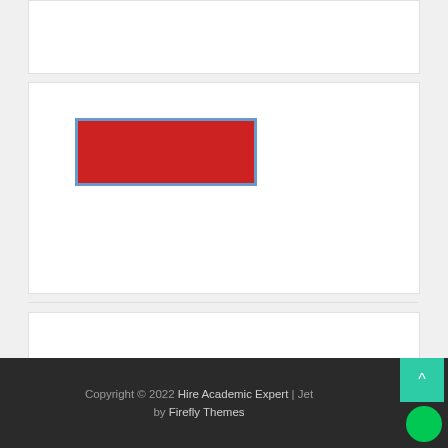[Figure (other): White card panel at top, partially visible]
[Figure (other): White card panel with a red rectangle button element with blue border]
[Figure (other): White card panel at bottom, partially visible]
Copyright © 2022 Hire Academic Expert | Jet by Firefly Themes